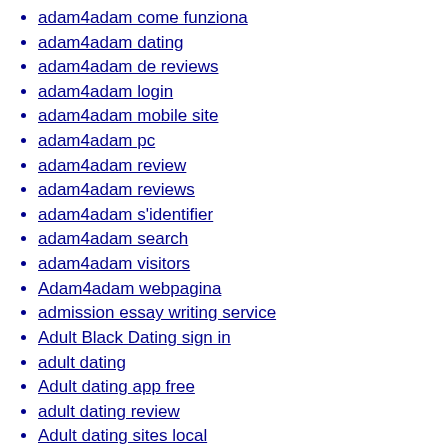adam4adam come funziona
adam4adam dating
adam4adam de reviews
adam4adam login
adam4adam mobile site
adam4adam pc
adam4adam review
adam4adam reviews
adam4adam s'identifier
adam4adam search
adam4adam visitors
Adam4adam webpagina
admission essay writing service
Adult Black Dating sign in
adult dating
Adult dating app free
adult dating review
Adult dating sites local
Adult dating sites online
Adult dating sites tips
Adult dating sites username
Adult dating sites websites
adult escort
adult friend finder hookup hotshot